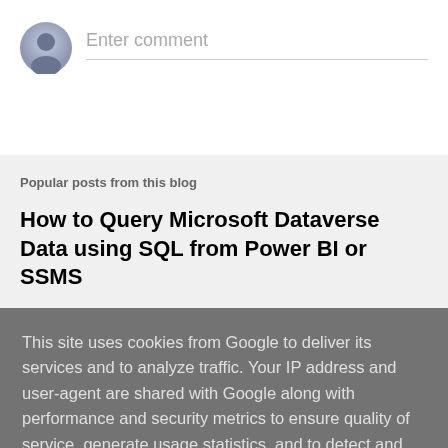[Figure (illustration): Gray circular avatar icon with a person silhouette]
Enter comment
Popular posts from this blog
How to Query Microsoft Dataverse Data using SQL from Power BI or SSMS
This site uses cookies from Google to deliver its services and to analyze traffic. Your IP address and user-agent are shared with Google along with performance and security metrics to ensure quality of service, generate usage statistics, and to detect and address abuse.
LEARN MORE   OK